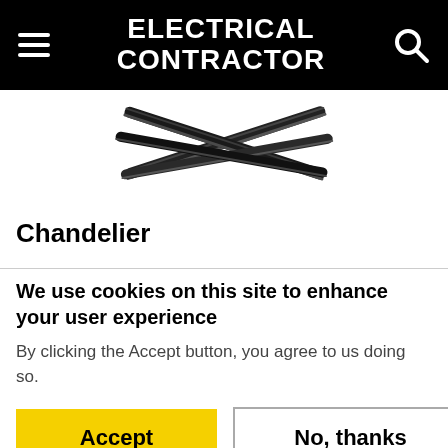ELECTRICAL CONTRACTOR
[Figure (photo): Crossed black electrical cables or wires forming an X shape]
Chandelier
We use cookies on this site to enhance your user experience
By clicking the Accept button, you agree to us doing so.
Accept | No, thanks